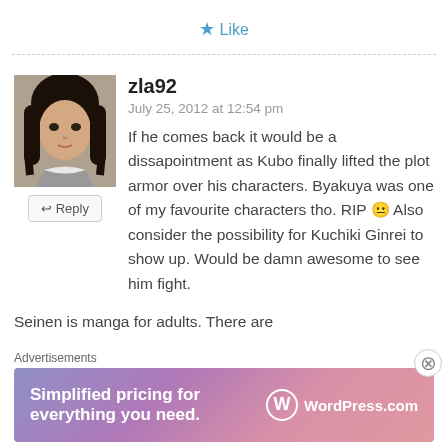★ Like
[Figure (photo): Avatar image of anime character with dark hair]
↩ Reply
zla92
July 25, 2012 at 12:54 pm
If he comes back it would be a dissapointment as Kubo finally lifted the plot armor over his characters. Byakuya was one of my favourite characters tho. RIP 😐 Also consider the possibility for Kuchiki Ginrei to show up. Would be damn awesome to see him fight.
Seinen is manga for adults. There are
Advertisements
[Figure (screenshot): WordPress.com advertisement banner: Simplified pricing for everything you need.]